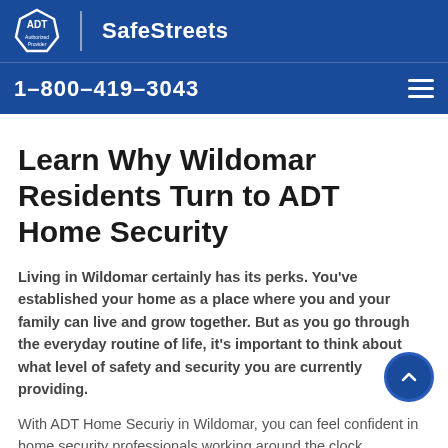[Figure (logo): ADT Authorized Provider SafeStreets logo on dark blue background header]
1-800-419-3043
Learn Why Wildomar Residents Turn to ADT Home Security
Living in Wildomar certainly has its perks. You've established your home as a place where you and your family can live and grow together. But as you go through the everyday routine of life, it's important to think about what level of safety and security you are currently providing.
With ADT Home Securiy in Wildomar, you can feel confident in home security professionals working around the clock